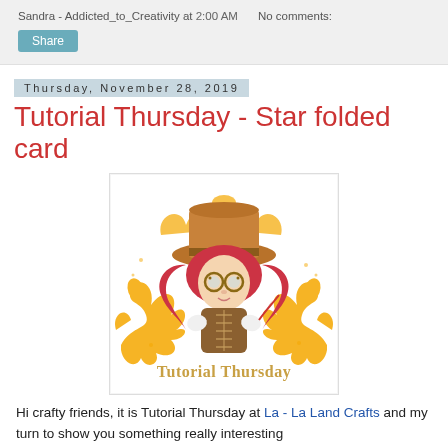Sandra - Addicted_to_Creativity at 2:00 AM   No comments:
Share
Thursday, November 28, 2019
Tutorial Thursday - Star folded card
[Figure (illustration): Tutorial Thursday logo: a steampunk cartoon girl with red hair, top hat, goggles, corset, surrounded by orange floral scrollwork, with 'Tutorial Thursday' text below in decorative font]
Hi crafty friends, it is Tutorial Thursday at La - La Land Crafts and my turn to show you something really interesting